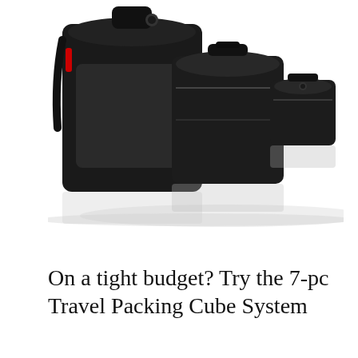[Figure (photo): Three black travel packing cubes/bags arranged on a white background — a large flat organizer on the left, a medium rectangular packing cube in the center, and a smaller square packing cube on the right. The bags have an Eagle Creek brand logo and a red accent zipper pull visible on the left bag.]
On a tight budget? Try the 7-pc Travel Packing Cube System